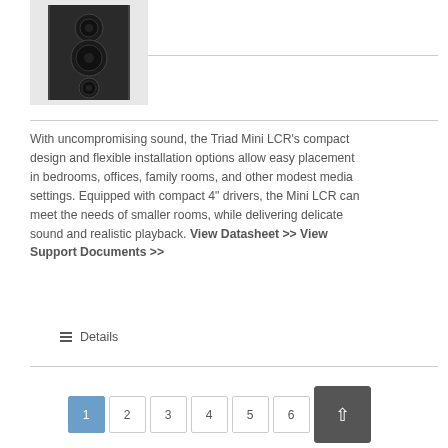[Figure (photo): Black and white photo of a Triad Mini LCR speaker cabinet]
With uncompromising sound, the Triad Mini LCR’s compact design and flexible installation options allow easy placement in bedrooms, offices, family rooms, and other modest media settings. Equipped with compact 4" drivers, the Mini LCR can meet the needs of smaller rooms, while delivering delicate sound and realistic playback. View Datasheet >> View Support Documents >>
≡ Details
1 2 3 4 5 6